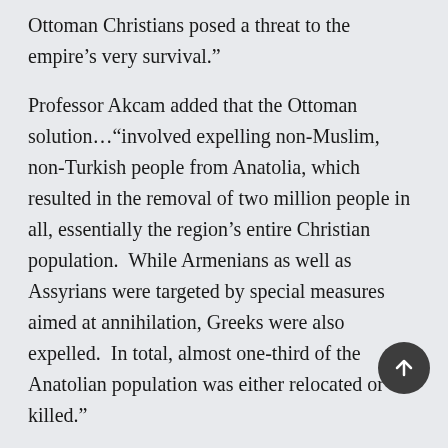Ottoman Christians posed a threat to the empire’s very survival.”
Professor Akcam added that the Ottoman solution…“involved expelling non-Muslim, non-Turkish people from Anatolia, which resulted in the removal of two million people in all, essentially the region’s entire Christian population.  While Armenians as well as Assyrians were targeted by special measures aimed at annihilation, Greeks were also expelled.  In total, almost one-third of the Anatolian population was either relocated or killed.”
George Shirinian, Executive Director of the Zorvan Institute, notes that the